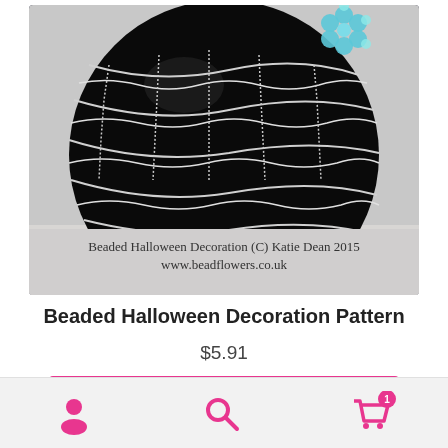[Figure (photo): A black beaded Halloween decoration ornament with silver beaded spider web pattern and hanging crystal/bead droplets, with a blue beaded flower at the top right. Caption reads: Beaded Halloween Decoration (C) Katie Dean 2015 www.beadflowers.co.uk]
Beaded Halloween Decoration Pattern
$5.91
Add to basket